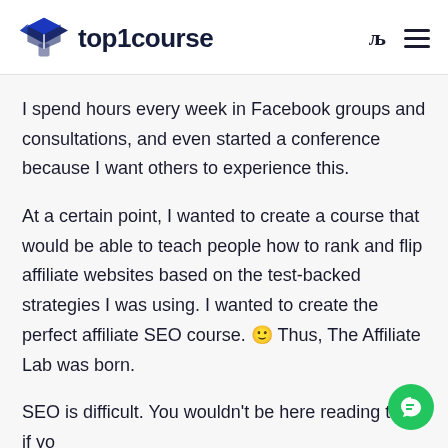[Figure (logo): top1course logo with graduation cap icon and bold dark navy text]
I spend hours every week in Facebook groups and consultations, and even started a conference because I want others to experience this.
At a certain point, I wanted to create a course that would be able to teach people how to rank and flip affiliate websites based on the test-backed strategies I was using. I wanted to create the perfect affiliate SEO course. 🙂 Thus, The Affiliate Lab was born.
SEO is difficult. You wouldn't be here reading this if you already had it figured out.